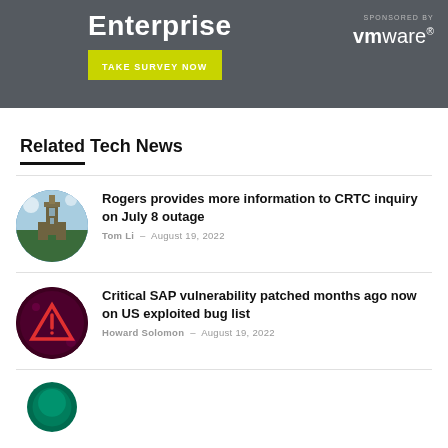[Figure (other): Dark gray advertisement banner with 'Enterprise' title, 'TAKE SURVEY NOW' green button, 'SPONSORED BY' text, and VMware logo]
Related Tech News
[Figure (photo): Circular thumbnail of Canadian Parliament building]
Rogers provides more information to CRTC inquiry on July 8 outage
Tom Li - August 19, 2022
[Figure (photo): Circular thumbnail of red warning triangle on dark background]
Critical SAP vulnerability patched months ago now on US exploited bug list
Howard Solomon - August 19, 2022
[Figure (photo): Circular thumbnail with green texture, partially visible at bottom]